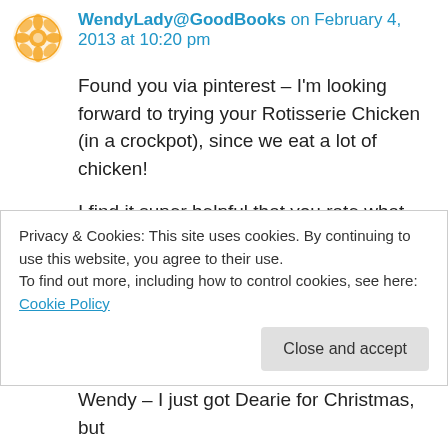WendyLady@GoodBooks on February 4, 2013 at 10:20 pm
Found you via pinterest – I'm looking forward to trying your Rotisserie Chicken (in a crockpot), since we eat a lot of chicken!
I find it super helpful that you rate what you're reading – I have such a hard time doing that! My current read is “Dearie”, a biography about Julia Child. I think I liked “My Life In France” better, but “Dearie” is interesting and very in-depth – it
Privacy & Cookies: This site uses cookies. By continuing to use this website, you agree to their use.
To find out more, including how to control cookies, see here: Cookie Policy
Wendy – I just got Dearie for Christmas, but